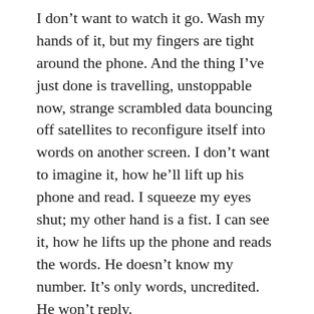I don't want to watch it go. Wash my hands of it, but my fingers are tight around the phone. And the thing I've just done is travelling, unstoppable now, strange scrambled data bouncing off satellites to reconfigure itself into words on another screen. I don't want to imagine it, how he'll lift up his phone and read. I squeeze my eyes shut; my other hand is a fist. I can see it, how he lifts up the phone and reads the words. He doesn't know my number. It's only words, uncredited. He won't reply.
	The phone shudders in my hand. My hand is shaking. I swipe and the screen lights up: 'I know.'
	'Fuck.' I say it out loud. I slam the phone into my knee, many times, repeatedly, dull thuds.